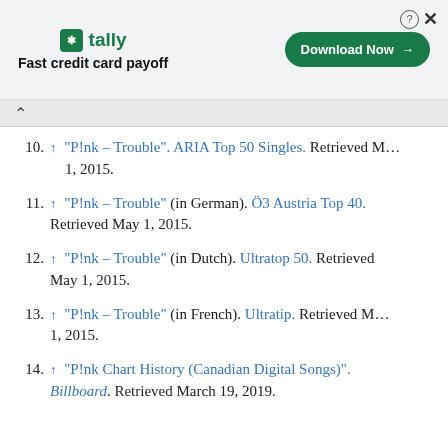[Figure (screenshot): Advertisement banner for Tally app — 'Fast credit card payoff' with a green Download Now button]
10. ↑ "P!nk – Trouble". ARIA Top 50 Singles. Retrieved May 1, 2015.
11. ↑ "P!nk – Trouble" (in German). Ö3 Austria Top 40. Retrieved May 1, 2015.
12. ↑ "P!nk – Trouble" (in Dutch). Ultratop 50. Retrieved May 1, 2015.
13. ↑ "P!nk – Trouble" (in French). Ultratip. Retrieved May 1, 2015.
14. ↑ "P!nk Chart History (Canadian Digital Songs)". Billboard. Retrieved March 19, 2019.